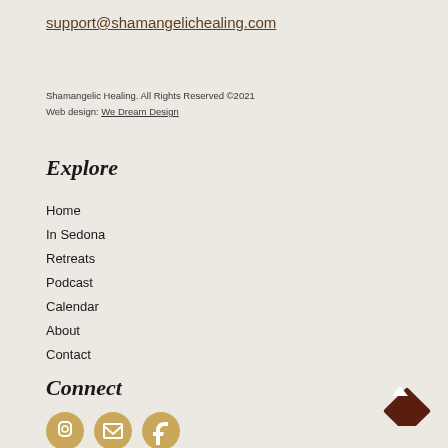support@shamangelichealing.com
Shamangelic Healing. All Rights Reserved ©2021
Web design: We Dream Design
Explore
Home
In Sedona
Retreats
Podcast
Calendar
About
Contact
Connect
[Figure (illustration): Three circular social media icon buttons in golden/tan color, partially visible at bottom of page]
[Figure (illustration): Dark brown diamond-shaped scroll-to-top button with upward arrow in the bottom right corner]